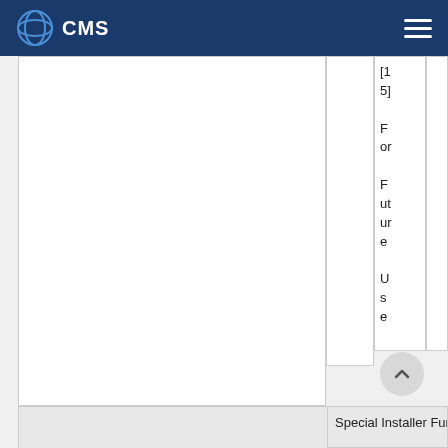CMS
|  |  | [15] For Future Use |  |
| --- | --- | --- | --- |
|  |  |  |  |
|  | Special Installer Fund |  |  |
Special Installer Fund